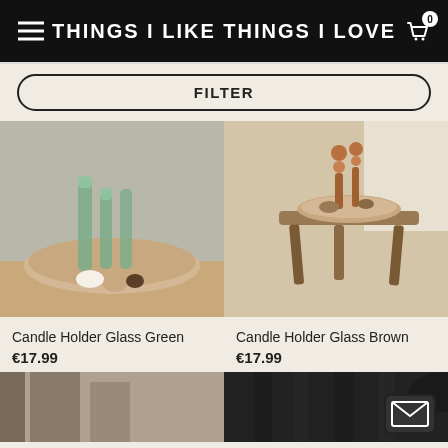THINGS I LIKE THINGS I LOVE
FILTER
[Figure (photo): Candle holder glass green - green glass candlesticks in a sandy ceramic tray with shells on a wooden surface]
Candle Holder Glass Green
€17.99
[Figure (photo): Candle holder glass brown - wooden stool with round tray and brown glass candlestick on a jute rug next to a sofa with cream blanket]
Candle Holder Glass Brown
€17.99
[Figure (photo): Partial product image bottom left - stone or concrete textured surface]
[Figure (photo): Partial product image bottom right - dark navy/black curtain fabric, with email icon overlay]